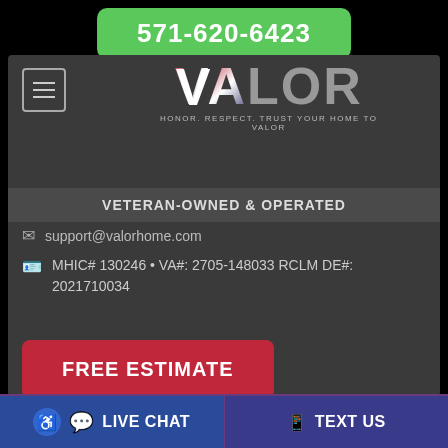571-620-6423
[Figure (logo): VALOR logo with American flag design on V-A letters and gray L-O-R letters, tagline: HONOR. RESPECT. TRUST YOUR HOME TO VALOR]
VETERAN-OWNED & OPERATED
support@valorhome.com
MHIC# 130246 • VA#: 2705-148033 RCLM DE#: 2021710034
FREE ESTIMATE
LIVE CHAT
TEXT US